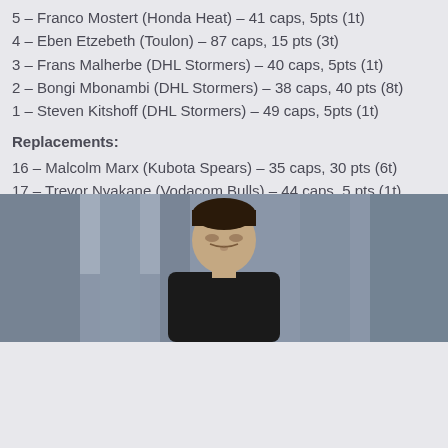5 – Franco Mostert (Honda Heat) – 41 caps, 5pts (1t)
4 – Eben Etzebeth (Toulon) – 87 caps, 15 pts (3t)
3 – Frans Malherbe (DHL Stormers) – 40 caps, 5pts (1t)
2 – Bongi Mbonambi (DHL Stormers) – 38 caps, 40 pts (8t)
1 – Steven Kitshoff (DHL Stormers) – 49 caps, 5pts (1t)
Replacements:
16 – Malcolm Marx (Kubota Spears) – 35 caps, 30 pts (6t)
17 – Trevor Nyakane (Vodacom Bulls) – 44 caps, 5 pts (1t)
18 – Vincent Koch (Saracens) – 21 caps, 0 pts
19 – Lood de Jager (Sale Sharks) – 46 caps, 25 pts (5t)
20 – Marco van Staden (Vodacom Bulls) – 3 caps, 0 pts
21 – Kwagga Smith (Yamaha Júbilo) – 8 caps, 5 pts (1t)
22 – Herschel Jantjies (DHL Stormers) – 12 caps, 25 pts (5t)
23 – Damian Willemse (DHL Stormers) – 8 caps, 5pts (1t)
[Figure (photo): A rugby player photographed outdoors with a blurred background of trees/pillars]